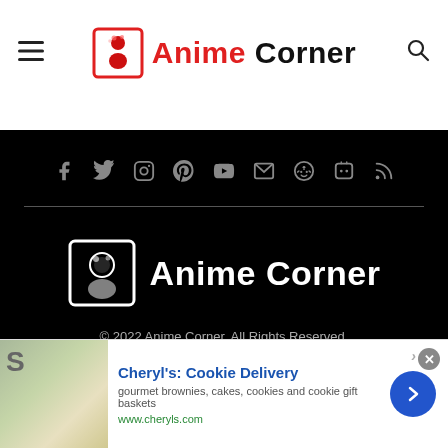Anime Corner
[Figure (logo): Anime Corner website footer with social media icons (Facebook, Twitter, Instagram, Pinterest, YouTube, Email, Reddit, Discord, RSS), a horizontal divider, the Anime Corner logo in white, and copyright text]
© 2022 Anime Corner. All Rights Reserved.
[Figure (other): Advertisement banner for Cheryl's: Cookie Delivery — gourmet brownies, cakes, cookies and cookie gift baskets — www.cheryls.com]